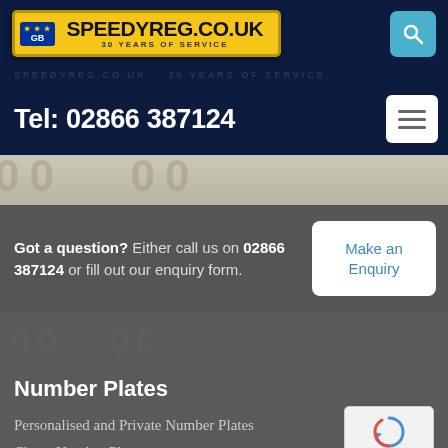[Figure (logo): SpeedyReg.co.uk license plate style logo with GB badge and '30 Years of Service' subtitle on yellow plate background]
[Figure (other): Search button icon (magnifying glass) on teal/blue rounded square background]
Tel: 02866 387124
[Figure (other): Hamburger menu button (three horizontal lines) on white rounded rectangle]
[Figure (other): Banner strip with large faded registration plate numbers in background]
Got a question? Either call us on 02866 387124 or fill out our enquiry form.
Make an Enquiry
Number Plates
Personalised and Private Number Plates
Cheap Number Plates
[Figure (other): Google reCAPTCHA badge with circular arrow icon and Privacy - Terms text]